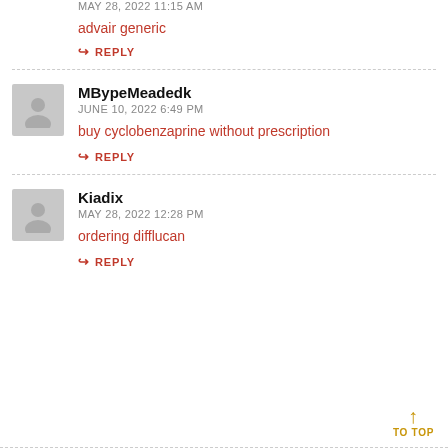MAY 28, 2022 11:15 AM
advair generic
REPLY
MBypeMeadedk
JUNE 10, 2022 6:49 PM
buy cyclobenzaprine without prescription
REPLY
Kiadix
MAY 28, 2022 12:28 PM
ordering difflucan
REPLY
TO TOP